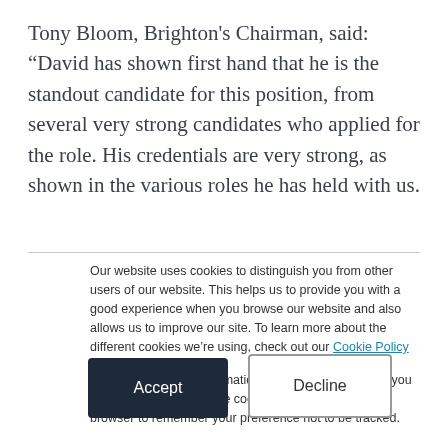Tony Bloom, Brighton's Chairman, said: “David has shown first hand that he is the standout candidate for this position, from several very strong candidates who applied for the role. His credentials are very strong, as shown in the various roles he has held with us.
Our website uses cookies to distinguish you from other users of our website. This helps us to provide you with a good experience when you browse our website and also allows us to improve our site. To learn more about the different cookies we’re using, check out our Cookie Policy
If you decline, your information won’t be tracked when you visit this website. A single cookie will be used in your browser to remember your preference not to be tracked.